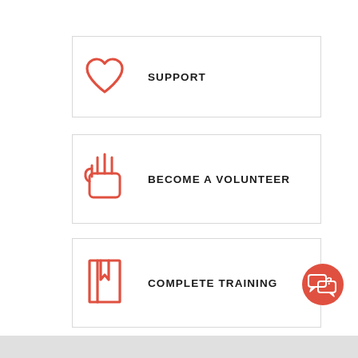[Figure (infographic): Three menu/button cards stacked vertically. Card 1: red heart icon with label SUPPORT. Card 2: red raised hand icon with label BECOME A VOLUNTEER. Card 3: red bookmark/book icon with label COMPLETE TRAINING. Red circular chat button in bottom-right corner.]